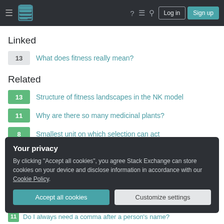Stack Exchange navigation bar with Log in and Sign up buttons
Linked
13 — What does fitness really mean?
Related
13 — Structure of fitness landscapes in the NK model
11 — Why are there so many medicinal plants?
8 — Smallest unit on which selection can act
13 — What does fitness really mean?
Your privacy
By clicking "Accept all cookies", you agree Stack Exchange can store cookies on your device and disclose information in accordance with our Cookie Policy.
Accept all cookies | Customize settings
Do I always need a comma after a person's name?